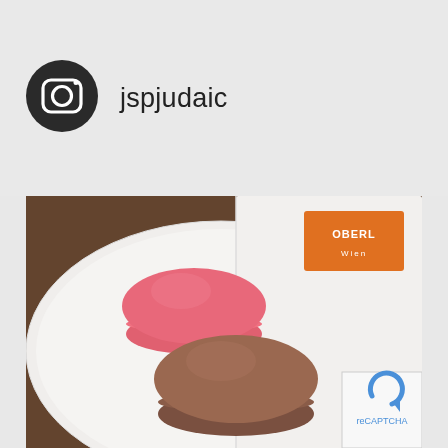[Figure (logo): Instagram logo icon — dark circle with white camera outline]
jspjudaic
[Figure (photo): Photo of two macarons on a white plate with a white paper bag labeled OBERL... Wien in orange. One macaron is pink/red and one is chocolate brown, on a dark wooden table background. A reCAPTCHA badge appears in the bottom-right corner.]